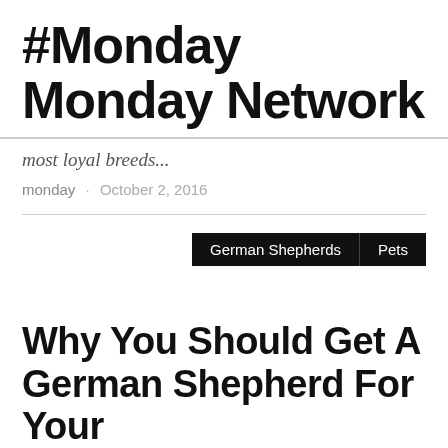#Monday Monday Network
most loyal breeds...
monday · October 2, 2016
German Shepherds  Pets
Why You Should Get A German Shepherd For Your